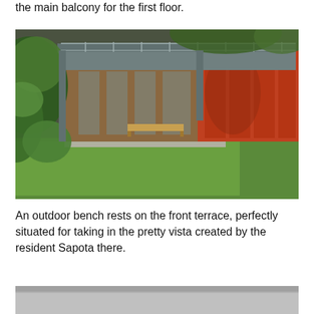the main balcony for the first floor.
[Figure (photo): Exterior view of a modern house with wooden panels and red perforated metal screens, surrounded by lush green trees and lawn, with a balcony on the upper floor and a bench on the front terrace.]
An outdoor bench rests on the front terrace, perfectly situated for taking in the pretty vista created by the resident Sapota there.
[Figure (photo): Partial view of a second photograph showing a light grey surface, likely a terrace or concrete floor.]